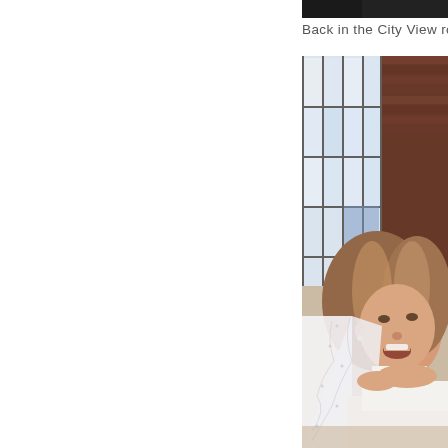[Figure (photo): Top portion of a dark/black photo at upper right of page, partially cropped]
Back in the City View roo
[Figure (photo): Photo of a bride with long wavy hair, wearing a white wedding dress and veil with beaded detail, laughing or speaking expressively, photographed inside a venue with large industrial windows and brick wall in background]